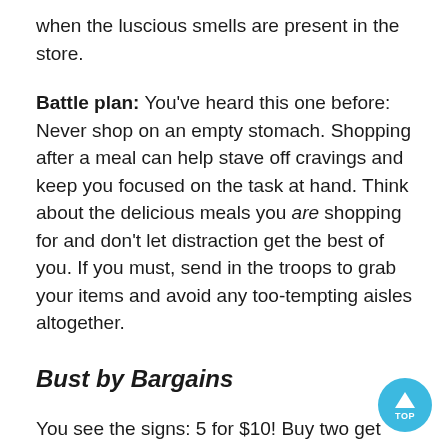when the luscious smells are present in the store.
Battle plan: You've heard this one before: Never shop on an empty stomach. Shopping after a meal can help stave off cravings and keep you focused on the task at hand. Think about the delicious meals you are shopping for and don't let distraction get the best of you. If you must, send in the troops to grab your items and avoid any too-tempting aisles altogether.
Bust by Bargains
You see the signs: 5 for $10! Buy two get one